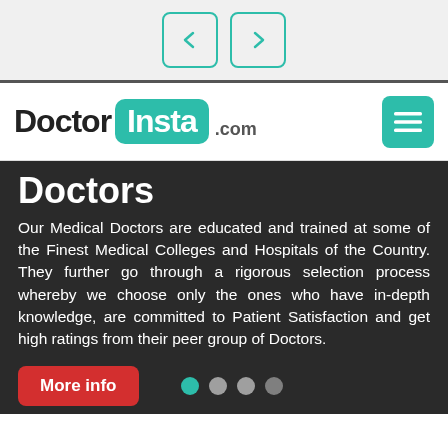[Figure (screenshot): Navigation bar with back and forward arrow buttons in teal outline style]
[Figure (logo): DoctorInsta.com logo with teal rounded rectangle around 'Insta' and hamburger menu button]
Doctors
Our Medical Doctors are educated and trained at some of the Finest Medical Colleges and Hospitals of the Country. They further go through a rigorous selection process whereby we choose only the ones who have in-depth knowledge, are committed to Patient Satisfaction and get high ratings from their peer group of Doctors.
More info